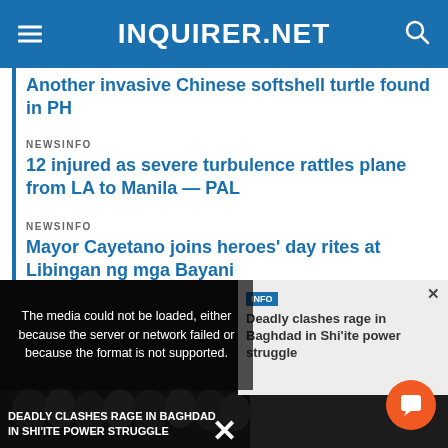INQUIRER.NET
Another invasive Chinese softshell turtle found in PH
NEWSINFO
12 injured as severe turbulence rattles plane from LA to Manila — PAL
NEWSINFO
Mayor Cayetano joins heroes' day rites at Libingan ng mga Bayani
“Why did they connect (the pork barrel issue) with murder? That hurt the most because my children saw that (front page news),” she said, adding that
[Figure (screenshot): Video player showing 'Deadly clashes rage in Baghdad in Shi'ite power struggle' with error message overlay: 'The media could not be loaded, either because the server or network failed or because the format is not supported.' Orange chat button visible. Close X button at bottom.]